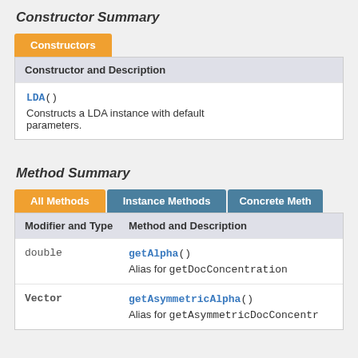Constructor Summary
| Constructor and Description |
| --- |
| LDA()
Constructs a LDA instance with default parameters. |
Method Summary
| Modifier and Type | Method and Description |
| --- | --- |
| double | getAlpha()
Alias for getDocConcentration |
| Vector | getAsymmetricAlpha()
Alias for getAsymmetricDocConcentr |